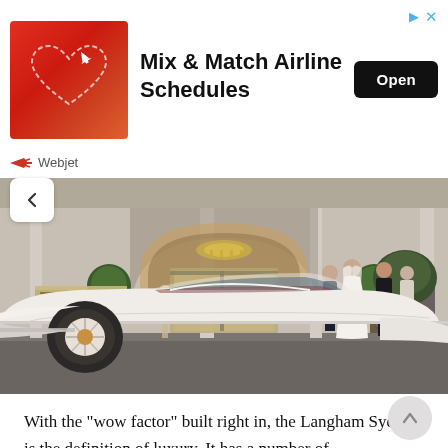[Figure (infographic): Advertisement banner for Webjet showing 'Mix & Match Airline Schedules' with a red background image featuring a heart and airplane icon, an Open button, and the Webjet logo/name beneath]
[Figure (photo): Wedding photo in front of The Langham Sydney hotel. A white vintage Ford Mustang convertible with white ribbon decoration is parked in front of the hotel entrance. A bride in a white dress and veil stands with a groom in a black suit, bridesmaid in dark dress, and other attendees. The hotel entrance features a grand arched doorway with a chandelier and gold/glass doors. Two topiary trees flank the entrance.]
With the "wow factor" built right in, the Langham Sydney is the definition of luxury. It has a number of